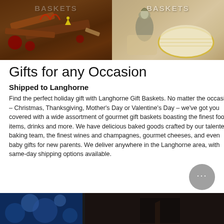[Figure (photo): Two side-by-side images at top: left shows chocolate pieces and holiday decorations with text BASKETS; right shows a decorative plate/kippah with a goblet and text BASKETS]
Gifts for any Occasion
Shipped to Langhorne
Find the perfect holiday gift with Langhorne Gift Baskets. No matter the occasion – Christmas, Thanksgiving, Mother's Day or Valentine's Day – we've got you covered with a wide assortment of gourmet gift baskets boasting the finest food items, drinks and more. We have delicious baked goods crafted by our talented baking team, the finest wines and champagnes, gourmet cheeses, and even baby gifts for new parents. We deliver anywhere in the Langhorne area, with same-day shipping options available.
[Figure (photo): Bottom strip showing two images: left is a blue bokeh/starry night background, right is a dark scene with a figure]